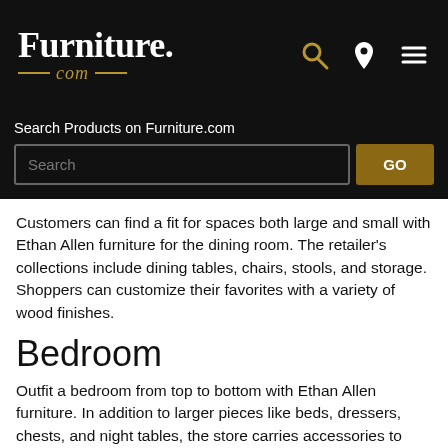Furniture.com
Search Products on Furniture.com
Customers can find a fit for spaces both large and small with Ethan Allen furniture for the dining room. The retailer's collections include dining tables, chairs, stools, and storage. Shoppers can customize their favorites with a variety of wood finishes.
Bedroom
Outfit a bedroom from top to bottom with Ethan Allen furniture. In addition to larger pieces like beds, dressers, chests, and night tables, the store carries accessories to personalize any space. Search for mirrors as well as the brand's own DREAM eazzz bed-in-a-box mattresses.
Bedding